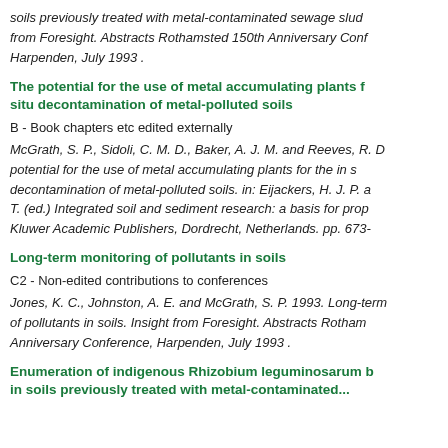soils previously treated with metal-contaminated sewage slud from Foresight. Abstracts Rothamsted 150th Anniversary Conf Harpenden, July 1993 .
The potential for the use of metal accumulating plants f situ decontamination of metal-polluted soils
B - Book chapters etc edited externally
McGrath, S. P., Sidoli, C. M. D., Baker, A. J. M. and Reeves, R. D potential for the use of metal accumulating plants for the in s decontamination of metal-polluted soils. in: Eijackers, H. J. P. a T. (ed.) Integrated soil and sediment research: a basis for prop Kluwer Academic Publishers, Dordrecht, Netherlands. pp. 673-
Long-term monitoring of pollutants in soils
C2 - Non-edited contributions to conferences
Jones, K. C., Johnston, A. E. and McGrath, S. P. 1993. Long-term of pollutants in soils. Insight from Foresight. Abstracts Rotham Anniversary Conference, Harpenden, July 1993 .
Enumeration of indigenous Rhizobium leguminosarum b in soils previously treated with metal-contaminated...